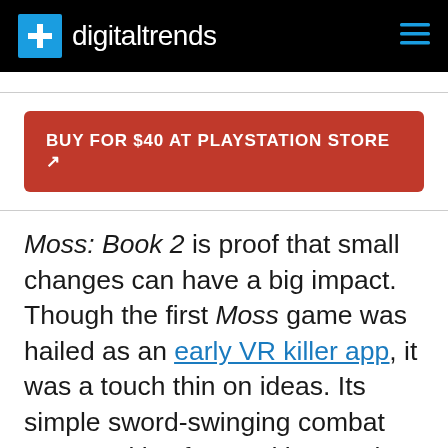digitaltrends
BUY FOR $40 AT PLAYSTATION STORE ↗
Moss: Book 2 is proof that small changes can have a big impact. Though the first Moss game was hailed as an early VR killer app, it was a touch thin on ideas. Its simple sword-swinging combat got repetitive fast and its puzzles largely revolved around the